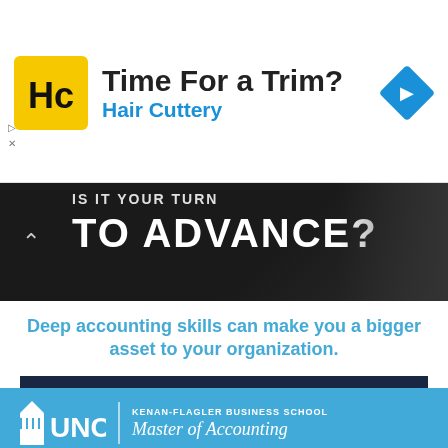[Figure (screenshot): Hair Cuttery advertisement banner with yellow HC logo, text 'Time For a Trim?' and 'Hair Cuttery' in blue, with a blue navigation diamond icon on the right]
[Figure (photo): Dark background banner showing partial text 'IS IT YOUR TURN TO ADVANCE?' in bold white uppercase letters, with a person in background]
Deep accounting skills can make you a bigger asset to your organization.
START WITH THE #1-RANKED ONLINE MASTER OF ACCOUNTING DEGREE
[Figure (logo): UNC Kenan-Flagler Business School Master of Accounting logo on blue background]